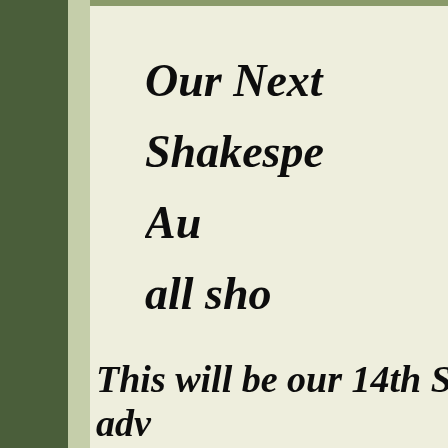Our Next Shakespeare Au all sho
This will be our 14th Shake adv